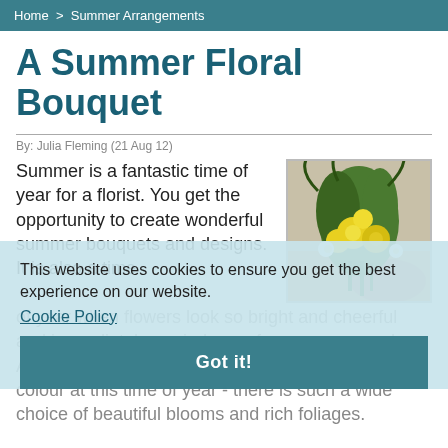Home > Summer Arrangements
A Summer Floral Bouquet
By: Julia Fleming (21 Aug 12)
Summer is a fantastic time of year for a florist. You get the opportunity to create wonderful summer bouquets and designs. It is also a time of year when flowers look so bright and cheerful and immediately remind you of warm summer days. A florists' is always packed full of vibrancy and colour at this time of year - there is such a wide choice of beautiful blooms and rich foliages.
[Figure (photo): Yellow summer floral bouquet with green foliage]
This website uses cookies to ensure you get the best experience on our website.
Cookie Policy
Got it!
A bouquet is one of the quickest and simplest
[Figure (photo): Green and white floral arrangement, bottom right]